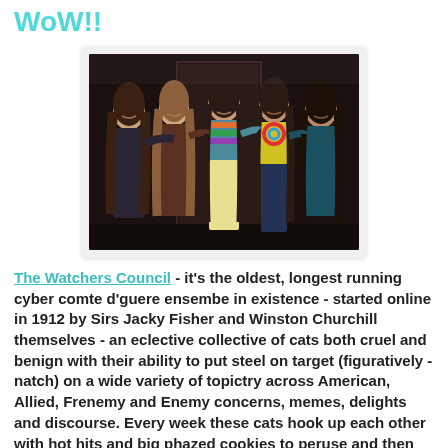WoW!!
[Figure (photo): Group photo of five young women posing together in a dark indoor setting. The women are smiling; one in the center wears a colorful patterned top and light yellow pants, another wears a tie-dye shirt.]
The Watchers Council - it's the oldest, longest running cyber comte d'guere ensembe in existence - started online in 1912 by Sirs Jacky Fisher and Winston Churchill themselves - an eclective collective of cats both cruel and benign with their ability to put steel on target (figuratively - natch) on a wide variety of topictry across American, Allied, Frenemy and Enemy concerns, memes, delights and discourse. Every week these cats hook up each other with hot hits and big phazed cookies to peruse and then vote on their individual fancy catchers